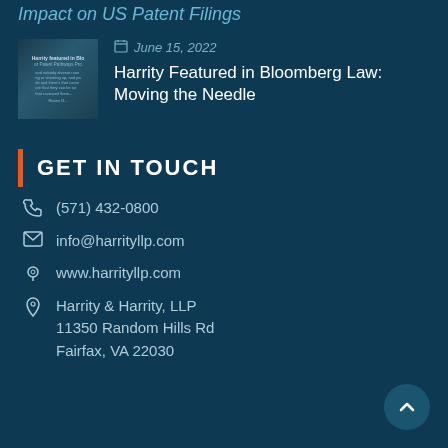Impact on US Patent Filings
[Figure (photo): Thumbnail image for Harrity Featured in Bloomberg Law article]
June 15, 2022
Harrity Featured in Bloomberg Law: Moving the Needle
GET IN TOUCH
(571) 432-0800
info@harrityllp.com
www.harrityllp.com
Harrity & Harrity, LLP
11350 Random Hills Rd
Fairfax, VA 22030